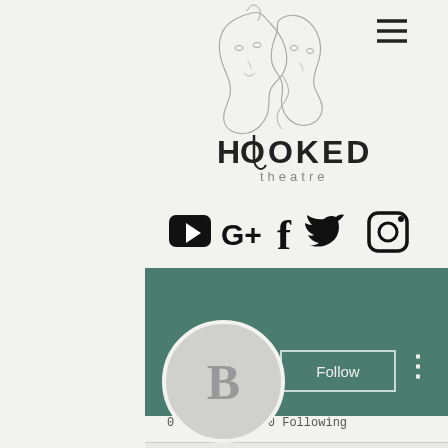[Figure (logo): Hooked Theatre logo — line art of two abstract faces with text 'HOOKED theatre' below]
[Figure (infographic): Social media icons row: YouTube, Google+, Facebook, Twitter, Instagram]
[Figure (screenshot): Green banner profile header with Follow button and avatar circle showing letter B]
Bulk pre workout price…
0 Followers • 0 Following